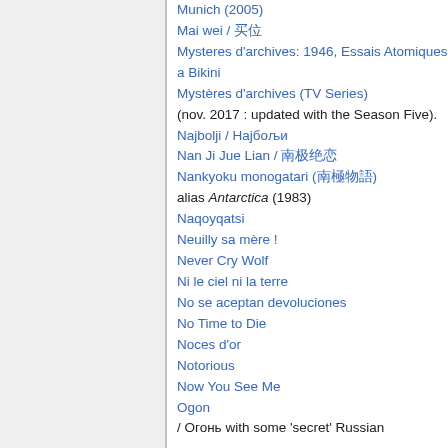Munich (2005)
Mai wei / 买位
Mysteres d'archives: 1946, Essais Atomiques a Bikini
Mystères d'archives (TV Series) (nov. 2017 : updated with the Season Five).
Najbolji / Најбољи
Nan Ji Jue Lian / 南极绝恋
Nankyoku monogatari (南極物語) alias Antarctica (1983)
Naqoyqatsi
Neuilly sa mère !
Never Cry Wolf
Ni le ciel ni la terre
No se aceptan devoluciones
No Time to Die
Noces d'or
Notorious
Now You See Me
Ogon / Огонь with some 'secret' Russian